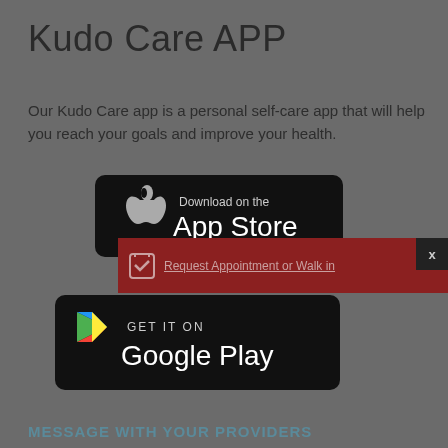Kudo Care APP
Our Kudo Care app is a personal self-care app that will help you reach your goals and improve your health.
[Figure (screenshot): App Store download badge with Apple logo on black background]
[Figure (screenshot): Notification overlay: 'Request Appointment or Walk in' with calendar icon on dark red background with X close button]
[Figure (screenshot): Google Play download badge with colorful Play triangle logo on black background]
MESSAGE WITH YOUR PROVIDERS